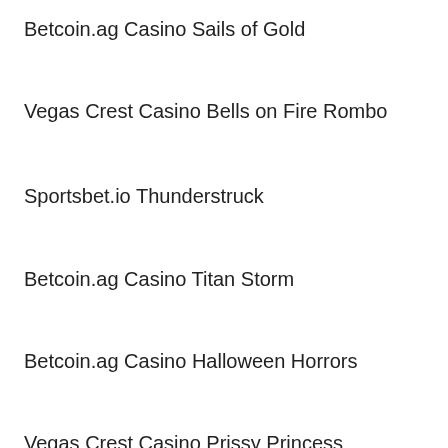Betcoin.ag Casino Sails of Gold
Vegas Crest Casino Bells on Fire Rombo
Sportsbet.io Thunderstruck
Betcoin.ag Casino Titan Storm
Betcoin.ag Casino Halloween Horrors
Vegas Crest Casino Prissy Princess